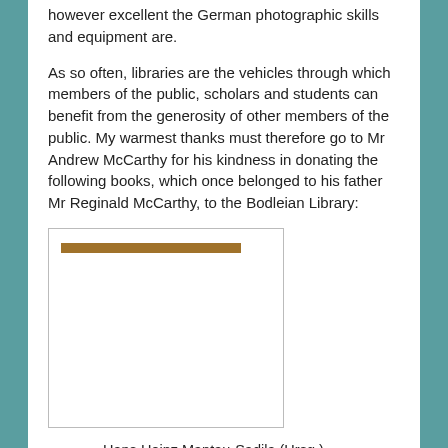however excellent the German photographic skills and equipment are.
As so often, libraries are the vehicles through which members of the public, scholars and students can benefit from the generosity of other members of the public. My warmest thanks must therefore go to Mr Andrew McCarthy for his kindness in donating the following books, which once belonged to his father Mr Reginald McCarthy, to the Bodleian Library:
[Figure (other): A rectangular image placeholder with a brown/tan horizontal bar near the top, rest is white.]
Hans Heinz Mantau-Sadila (Hrsg.), Deutsche Führer, Deutsches Schicksal : das Buch der Künder und Führer des Dritten Reiches. (München : Steinebach, 1934)